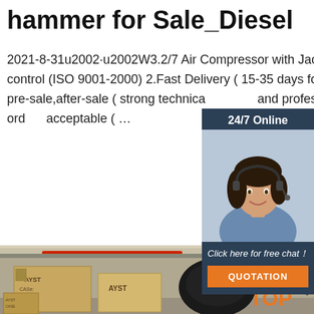hammer for Sale_Diesel
2021-8-31u2002·u2002W3.2/7 Air Compressor with Jack hammer for Sale. 1.High quality control (ISO 9001-2000) 2.Fast Delivery ( 15-35 days for large orders) 3.Good service for pre-sale,after-sale ( strong technical and professional after-sales team) 4.Small order acceptable ( …
[Figure (other): Customer service representative chat widget with '24/7 Online' header and 'Click here for free chat! QUOTATION' button]
[Figure (photo): Warehouse photo showing AYST branded wooden crates and industrial air compressor with jackhammer equipment]
[Figure (logo): TOP logo in orange with dot pattern, bottom right corner]